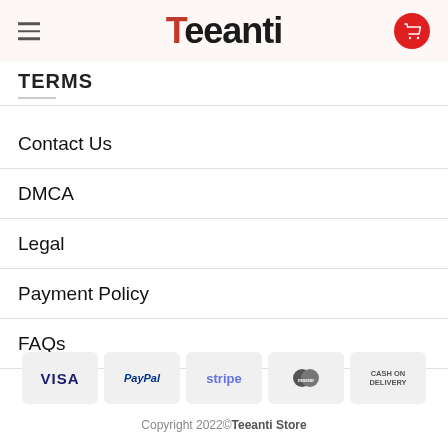Teeanti
TERMS
Contact Us
DMCA
Legal
Payment Policy
FAQs
[Figure (logo): Payment method badges: VISA, PayPal, stripe, MasterCard, CASH ON DELIVERY]
Copyright 2022©Teeanti Store